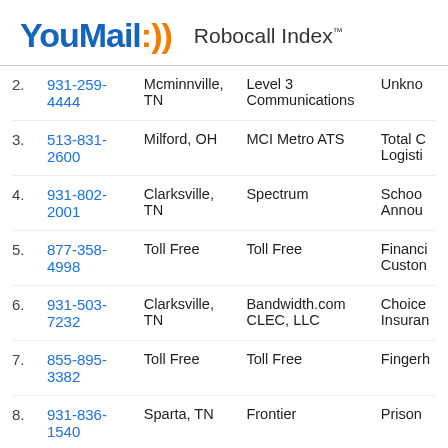YouMail:)) Robocall Index™
| # | Phone | Location | Carrier | Type |
| --- | --- | --- | --- | --- |
| 2. | 931-259-4444 | Mcminnville, TN | Level 3 Communications | Unkno… |
| 3. | 513-831-2600 | Milford, OH | MCI Metro ATS | Total G… Logisti… |
| 4. | 931-802-2001 | Clarksville, TN | Spectrum | Schoo… Annou… |
| 5. | 877-358-4998 | Toll Free | Toll Free | Financi… Custon… |
| 6. | 931-503-7232 | Clarksville, TN | Bandwidth.com CLEC, LLC | Choice… Insuran… |
| 7. | 855-895-3382 | Toll Free | Toll Free | Fingerh… |
| 8. | 931-836-1540 | Sparta, TN | Frontier | Prison… |